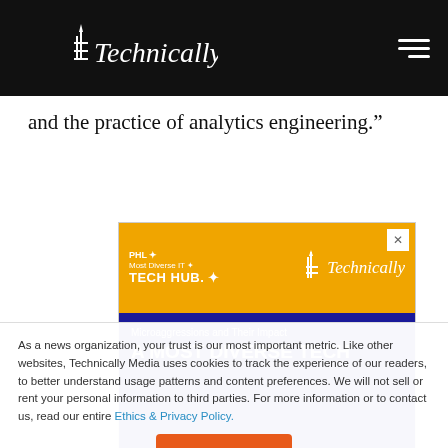Technically
and the practice of analytics engineering.”
[Figure (other): Advertisement banner for Technically Media / PHL Most Diverse IT Tech Hub event: 'Microaggressions and Their Impact A MOST DIVERSE TECH...' with orange top bar and dark blue bottom bar.]
As a news organization, your trust is our most important metric. Like other websites, Technically Media uses cookies to track the experience of our readers, to better understand usage patterns and content preferences. We will not sell or rent your personal information to third parties. For more information or to contact us, read our entire Ethics & Privacy Policy.
Close